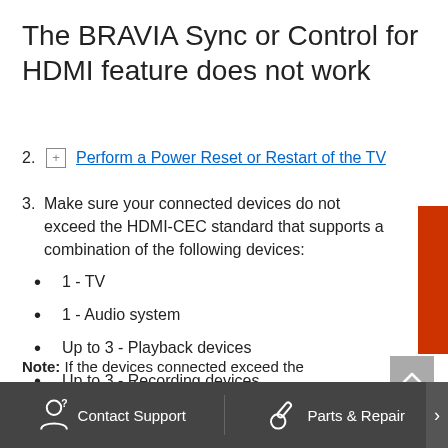The BRAVIA Sync or Control for HDMI feature does not work
2. [+] Perform a Power Reset or Restart of the TV
3. Make sure your connected devices do not exceed the HDMI-CEC standard that supports a combination of the following devices:
1 - TV
1 - Audio system
Up to 3 - Playback devices
Up to 3 - Recording devices
Up to 4 - Tuner devices
Note: If the devices connected exceed the maximum supported in a device category (if you have four playback devices for example), then errors in operation will occur. A/V receivers and soundbars connected to … as an audio system and a playback device.